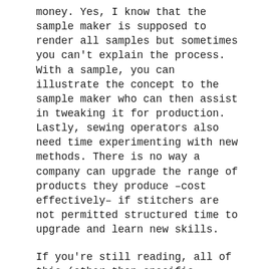money. Yes, I know that the sample maker is supposed to render all samples but sometimes you can't explain the process. With a sample, you can illustrate the concept to the sample maker who can then assist in tweaking it for production. Lastly, sewing operators also need time experimenting with new methods. There is no way a company can upgrade the range of products they produce –cost effectively– if stitchers are not permitted structured time to upgrade and learn new skills.
If you're still reading, all of this (other than specific incidents) and a whole lot more was written in The Entrepreneur's Guide to Sewn Product Manufacturing. Maybe you should consider reading it. Even things like lowering transaction costs –and I didn't even know what those were until yesterday– is also in there. Lean manufacturing is the only sane, sustainable and economically and socially